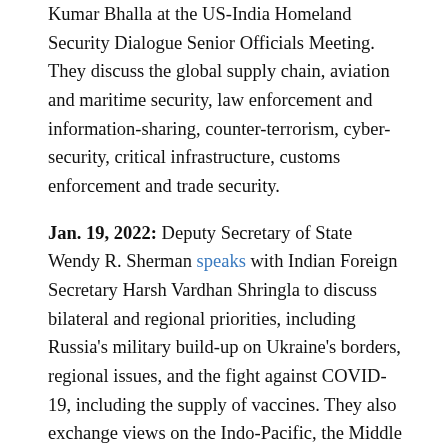Kumar Bhalla at the US-India Homeland Security Dialogue Senior Officials Meeting. They discuss the global supply chain, aviation and maritime security, law enforcement and information-sharing, counter-terrorism, cyber-security, critical infrastructure, customs enforcement and trade security.
Jan. 19, 2022: Deputy Secretary of State Wendy R. Sherman speaks with Indian Foreign Secretary Harsh Vardhan Shringla to discuss bilateral and regional priorities, including Russia's military build-up on Ukraine's borders, regional issues, and the fight against COVID-19, including the supply of vaccines. They also exchange views on the Indo-Pacific, the Middle East, the United Nations Security Council, and more.